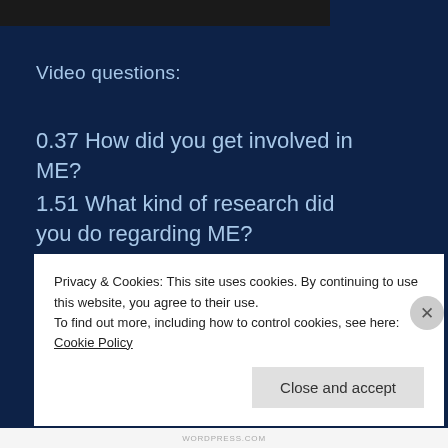[Figure (photo): Dark/black rectangle at top of page, appears to be a video thumbnail or image placeholder]
Video questions:
0.37 How did you get involved in ME?
1.51 What kind of research did you do regarding ME?
2.58 What are the most important discoveries you made?
Privacy & Cookies: This site uses cookies. By continuing to use this website, you agree to their use.
To find out more, including how to control cookies, see here: Cookie Policy
Close and accept